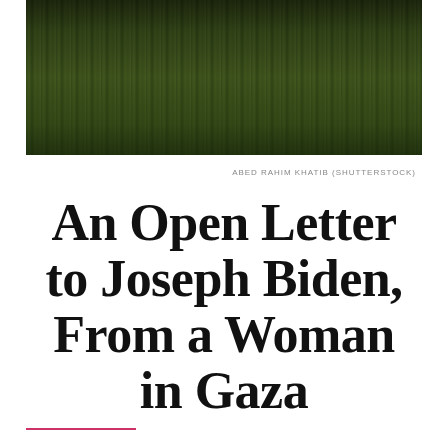[Figure (photo): Photograph of people walking through tall green grass or wheat fields, dark and moody tones]
ABED RAHIM KHATIB (SHUTTERSTOCK)
An Open Letter to Joseph Biden, From a Woman in Gaza